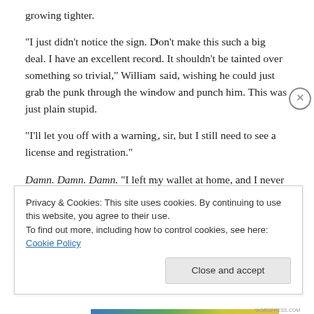growing tighter.
“I just didn’t notice the sign. Don’t make this such a big deal. I have an excellent record. It shouldn’t be tainted over something so trivial,” William said, wishing he could just grab the punk through the window and punch him. This was just plain stupid.
“I’ll let you off with a warning, sir, but I still need to see a license and registration.”
Damn. Damn. Damn. “I left my wallet at home, and I never
Privacy & Cookies: This site uses cookies. By continuing to use this website, you agree to their use.
To find out more, including how to control cookies, see here: Cookie Policy